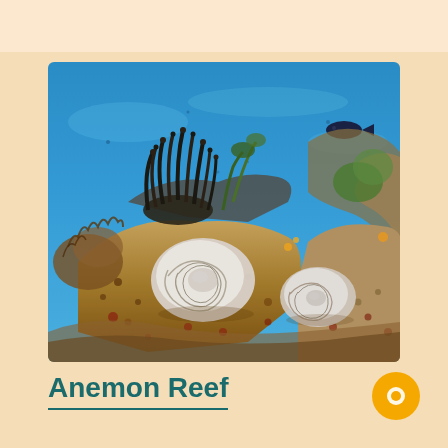[Figure (photo): Underwater photo of a coral reef with two white spiral shells on rocky coral, a large dark sea anemone in the background, blue water, various coral formations, and a dark blue fish visible in the upper right.]
Anemon Reef